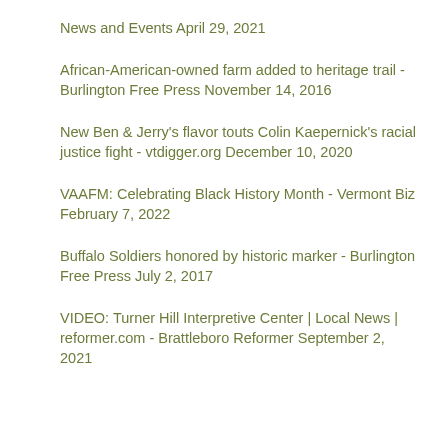News and Events April 29, 2021
African-American-owned farm added to heritage trail - Burlington Free Press November 14, 2016
New Ben & Jerry's flavor touts Colin Kaepernick's racial justice fight - vtdigger.org December 10, 2020
VAAFM: Celebrating Black History Month - Vermont Biz February 7, 2022
Buffalo Soldiers honored by historic marker - Burlington Free Press July 2, 2017
VIDEO: Turner Hill Interpretive Center | Local News | reformer.com - Brattleboro Reformer September 2, 2021